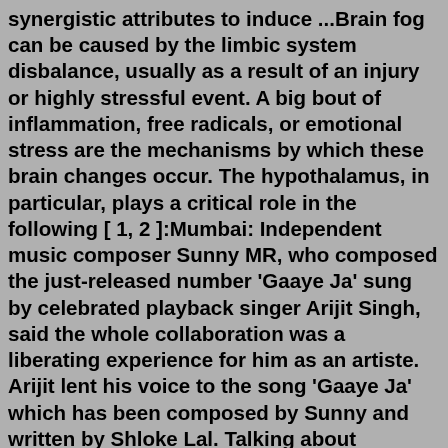synergistic attributes to induce ...Brain fog can be caused by the limbic system disbalance, usually as a result of an injury or highly stressful event. A big bout of inflammation, free radicals, or emotional stress are the mechanisms by which these brain changes occur. The hypothalamus, in particular, plays a critical role in the following [ 1, 2 ]:Mumbai: Independent music composer Sunny MR, who composed the just-released number 'Gaaye Ja' sung by celebrated playback singer Arijit Singh, said the whole collaboration was a liberating experience for him as an artiste. Arijit lent his voice to the song 'Gaaye Ja' which has been composed by Sunny and written by Shloke Lal. Talking about [...]2022-7-18 · Answered by Dr u/rednosereddit Reddit VYVANSE is a stimulant medicine VYVANSE is a stimulant medicine. Yes, Vyvanse was approved for BED (Binge-eating disorder) Kids start at 2 . Kids start at 2 Leia as regras e participe de nossa comunidade! Always opt for low carb and high protein meals Always opt for low carb and high protein meals Intrinsic motivation